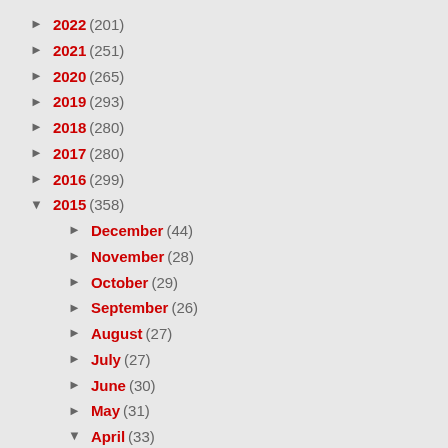► 2022 (201)
► 2021 (251)
► 2020 (265)
► 2019 (293)
► 2018 (280)
► 2017 (280)
► 2016 (299)
▼ 2015 (358)
► December (44)
► November (28)
► October (29)
► September (26)
► August (27)
► July (27)
► June (30)
► May (31)
▼ April (33)
Elizabeth Wein on the writer's craft of world-buil...